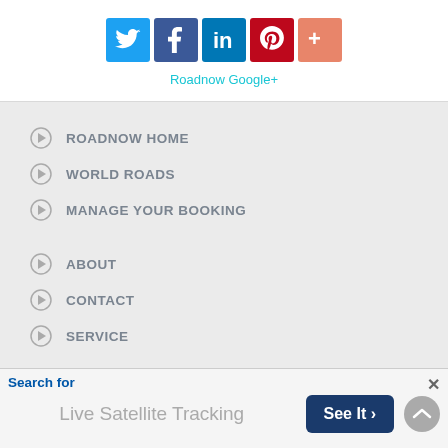[Figure (infographic): Social media icons row: Twitter (blue bird), Facebook (blue f), LinkedIn (blue in), Pinterest (red p), Google+ (orange/salmon +)]
Roadnow Google+
ROADNOW HOME
WORLD ROADS
MANAGE YOUR BOOKING
ABOUT
CONTACT
SERVICE
Search for
Live Satellite Tracking
See It >